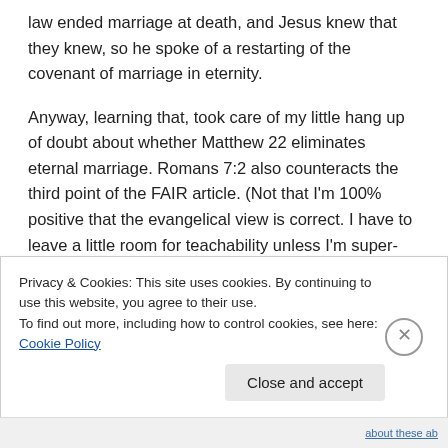law ended marriage at death, and Jesus knew that they knew, so he spoke of a restarting of the covenant of marriage in eternity.
Anyway, learning that, took care of my little hang up of doubt about whether Matthew 22 eliminates eternal marriage. Romans 7:2 also counteracts the third point of the FAIR article. (Not that I'm 100% positive that the evangelical view is correct. I have to leave a little room for teachability unless I'm super-positive!)
Privacy & Cookies: This site uses cookies. By continuing to use this website, you agree to their use.
To find out more, including how to control cookies, see here: Cookie Policy